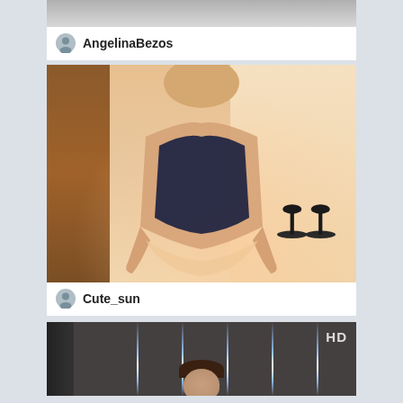[Figure (screenshot): Partial livestream card showing username AngelinaBezos with avatar icon]
AngelinaBezos
[Figure (screenshot): Livestream card for user Cute_sun showing a woman in dark lingerie]
Cute_sun
[Figure (screenshot): Partial HD livestream card showing a woman with dark hair, neon light strips in background]